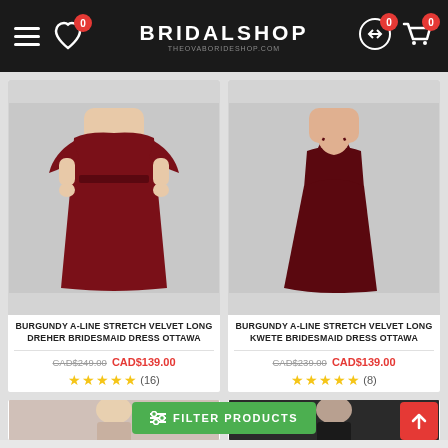BRIDALSHOP
[Figure (photo): Burgundy A-Line Stretch Velvet Long Dreher Bridesmaid Dress Ottawa - dark red floor-length bridesmaid dress with flutter sleeves on a model]
BURGUNDY A-LINE STRETCH VELVET LONG DREHER BRIDESMAID DRESS OTTAWA
CAD$249.00 CAD$139.00
★★★★★ (16)
[Figure (photo): Burgundy A-Line Stretch Velvet Long Kwete Bridesmaid Dress Ottawa - dark red floor-length bridesmaid dress with spaghetti straps on a model]
BURGUNDY A-LINE STRETCH VELVET LONG KWETE BRIDESMAID DRESS OTTAWA
CAD$239.00 CAD$139.00
★★★★★ (8)
[Figure (photo): Bottom row product cards partially visible]
FILTER PRODUCTS